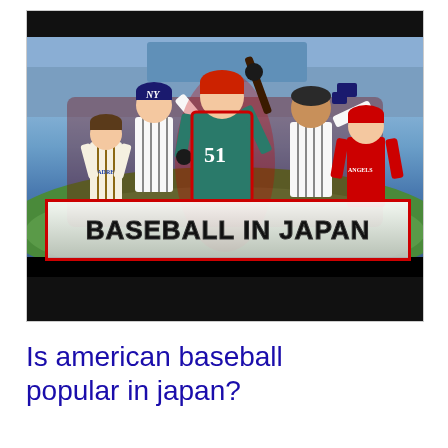[Figure (photo): YouTube thumbnail showing baseball players in various uniforms (Padres, Yankees, Angels, and player number 51 in teal/red) posed in front of a baseball stadium background, with a banner reading 'BASEBALL IN JAPAN' in bold black text on a white/grey banner with red border. Dark black bars at top and bottom of the image frame.]
Is american baseball popular in japan?